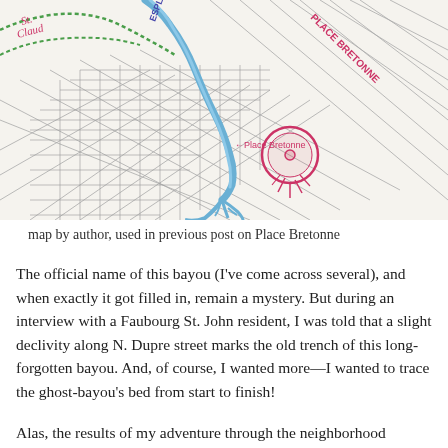[Figure (map): Hand-drawn map showing street grid of New Orleans area with bayou routes marked in blue, green dotted lines, and pink/red annotations. Labels include 'St. Claud', 'Esplanade', 'Place Bretonne', and 'Bayou' markings. A circled area near Place Bretonne is highlighted in pink/red.]
map by author, used in previous post on Place Bretonne
The official name of this bayou (I've come across several), and when exactly it got filled in, remain a mystery. But during an interview with a Faubourg St. John resident, I was told that a slight declivity along N. Dupre street marks the old trench of this long-forgotten bayou. And, of course, I wanted more—I wanted to trace the ghost-bayou's bed from start to finish!
Alas, the results of my adventure through the neighborhood